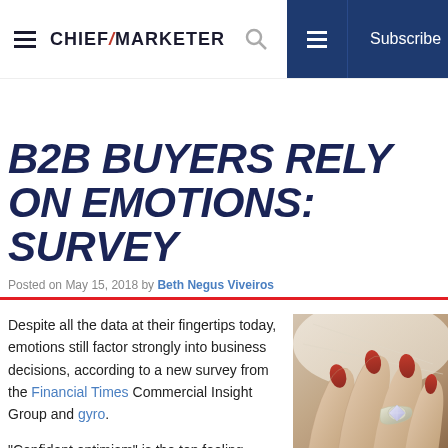CHIEF MARKETER — Subscribe
B2B BUYERS RELY ON EMOTIONS: SURVEY
Posted on May 15, 2018 by Beth Negus Viveiros
Despite all the data at their fingertips today, emotions still factor strongly into business decisions, according to a new survey from the Financial Times Commercial Insight Group and gyro.
“Confident optimism” is the top feeling marketers want to get from a potential
[Figure (photo): Close-up photo of a hand wearing a diamond ring with red nail polish]